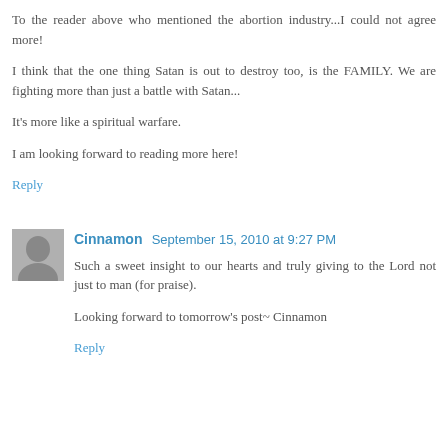To the reader above who mentioned the abortion industry...I could not agree more!
I think that the one thing Satan is out to destroy too, is the FAMILY. We are fighting more than just a battle with Satan...
It's more like a spiritual warfare.
I am looking forward to reading more here!
Reply
Cinnamon  September 15, 2010 at 9:27 PM
Such a sweet insight to our hearts and truly giving to the Lord not just to man (for praise).
Looking forward to tomorrow's post~ Cinnamon
Reply